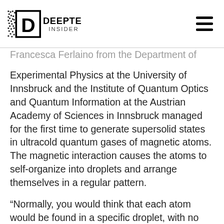DeepTech Insider
Francesca Ferlaino from the Department of Experimental Physics at the University of Innsbruck and the Institute of Quantum Optics and Quantum Information at the Austrian Academy of Sciences in Innsbruck managed for the first time to generate supersolid states in ultracold quantum gases of magnetic atoms. The magnetic interaction causes the atoms to self-organize into droplets and arrange themselves in a regular pattern.
“Normally, you would think that each atom would be found in a specific droplet, with no way to get between them,” says Matthew Norcia of Francesca Ferlaino’s team.